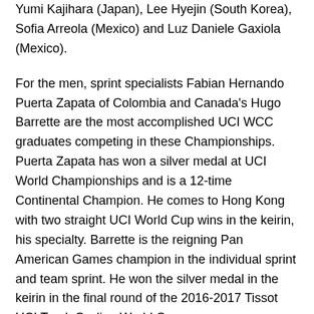Yumi Kajihara (Japan), Lee Hyejin (South Korea), Sofia Arreola (Mexico) and Luz Daniele Gaxiola (Mexico).
For the men, sprint specialists Fabian Hernando Puerta Zapata of Colombia and Canada's Hugo Barrette are the most accomplished UCI WCC graduates competing in these Championships. Puerta Zapata has won a silver medal at UCI World Championships and is a 12-time Continental Champion. He comes to Hong Kong with two straight UCI World Cup wins in the keirin, his specialty. Barrette is the reigning Pan American Games champion in the individual sprint and team sprint. He won the silver medal in the keirin in the final round of the 2016-2017 Tissot UCI Track Cycling World Cup.
Five additional male UCI WCC riders will compete at Hong Kong: Eric Burtsau (Belarus), Sandor Szalontay (Hungary), Yoshitaku Nagasako (Japan), Sanghoon Park (South Korea) and Gabriel Angel Quintero (Venezuela).